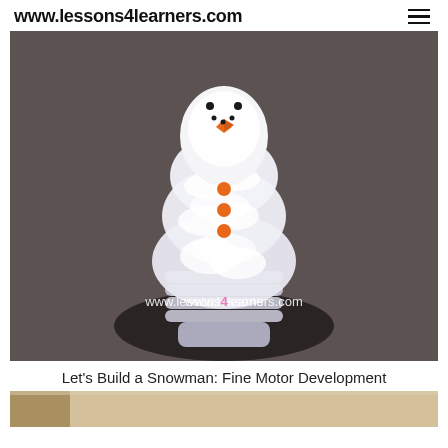www.lessons4learners.com
[Figure (photo): A DIY snowman craft made from a clear plastic bottle filled with cotton balls, with an orange carrot nose drawn on top, black dot eyes and mouth, orange circle buttons, sitting on a dark gray/brown textured surface. A watermark reads 'www.lessons4learners.com' with the '4' in pink.]
Let's Build a Snowman: Fine Motor Development
[Figure (photo): Partial view of another image at the bottom of the page, showing a warm-toned scene.]